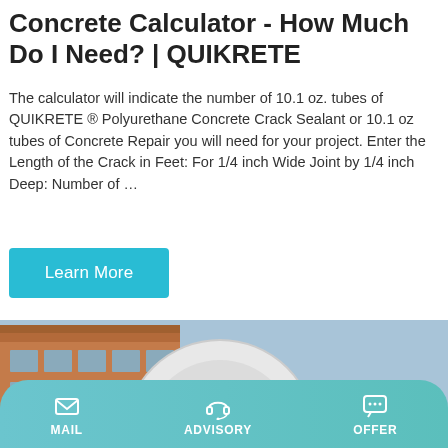Concrete Calculator - How Much Do I Need? | QUIKRETE
The calculator will indicate the number of 10.1 oz. tubes of QUIKRETE ® Polyurethane Concrete Crack Sealant or 10.1 oz tubes of Concrete Repair you will need for your project. Enter the Length of the Crack in Feet: For 1/4 inch Wide Joint by 1/4 inch Deep: Number of …
Learn More
[Figure (photo): Photo of a large white concrete mixer/pump machine labeled DISCHARGE MIXING and JBS40-10-82R CONCRETE PUMP, with a red brick building and bare trees in the background.]
MAIL   ADVISORY   OFFER